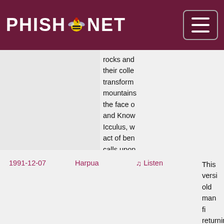PHISH.NET
rocks and their college transform mountains the face c and Know Icculus, w act of ben calls upon Famous M to retrieve Helping F Book and people of Gamehen
1991-12-07  Harpua  ♫ Listen  This versi old man fi returning a long jou